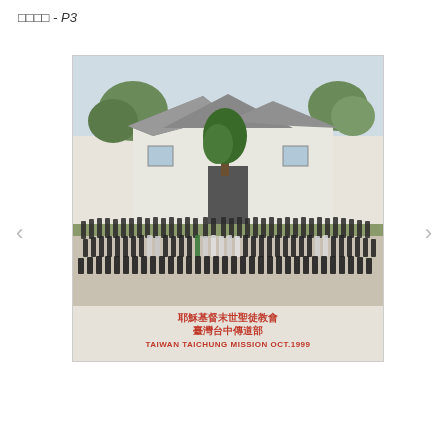□□□□ - P3
[Figure (photo): Large group photo of missionaries in formal dark suits and white shirts, standing and sitting in rows in front of a white building with a peaked roof and trees, taken at the Taiwan Taichung Mission in October 1999. The photo contains Chinese and English text captions at the bottom reading: 耶穌基督末世聖徒教會 臺灣台中傳道部 TAIWAN TAICHUNG MISSION OCT.1999]
耶穌基督末世聖徒教會
臺灣台中傳道部
TAIWAN TAICHUNG MISSION OCT.1999